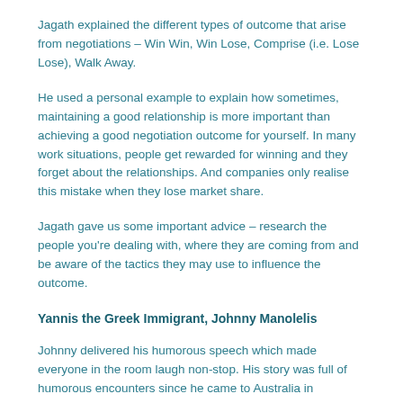Jagath explained the different types of outcome that arise from negotiations – Win Win, Win Lose, Comprise (i.e. Lose Lose), Walk Away.
He used a personal example to explain how sometimes, maintaining a good relationship is more important than achieving a good negotiation outcome for yourself. In many work situations, people get rewarded for winning and they forget about the relationships. And companies only realise this mistake when they lose market share.
Jagath gave us some important advice – research the people you're dealing with, where they are coming from and be aware of the tactics they may use to influence the outcome.
Yannis the Greek Immigrant, Johnny Manolelis
Johnny delivered his humorous speech which made everyone in the room laugh non-stop. His story was full of humorous encounters since he came to Australia in